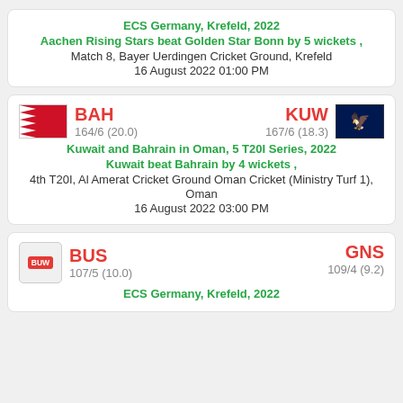ECS Germany, Krefeld, 2022
Aachen Rising Stars beat Golden Star Bonn by 5 wickets ,
Match 8, Bayer Uerdingen Cricket Ground, Krefeld
16 August 2022 01:00 PM
BAH 164/6 (20.0) | KUW 167/6 (18.3)
Kuwait and Bahrain in Oman, 5 T20I Series, 2022
Kuwait beat Bahrain by 4 wickets ,
4th T20I, Al Amerat Cricket Ground Oman Cricket (Ministry Turf 1), Oman
16 August 2022 03:00 PM
BUS 107/5 (10.0) | GNS 109/4 (9.2)
ECS Germany, Krefeld, 2022